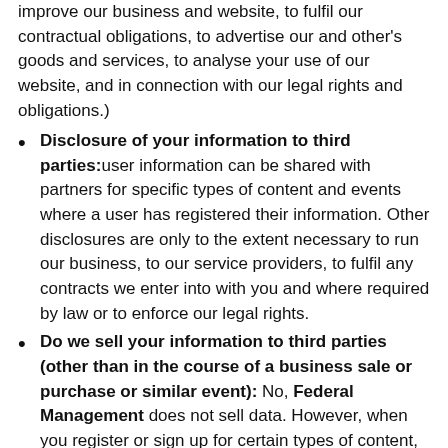improve our business and website, to fulfil our contractual obligations, to advertise our and other's goods and services, to analyse your use of our website, and in connection with our legal rights and obligations.)
Disclosure of your information to third parties: user information can be shared with partners for specific types of content and events where a user has registered their information. Other disclosures are only to the extent necessary to run our business, to our service providers, to fulfil any contracts we enter into with you and where required by law or to enforce our legal rights.
Do we sell your information to third parties (other than in the course of a business sale or purchase or similar event): No, Federal Management does not sell data. However, when you register or sign up for certain types of content, your registration data can be shared with sponsors and partners. We will always make it clear where any information provided